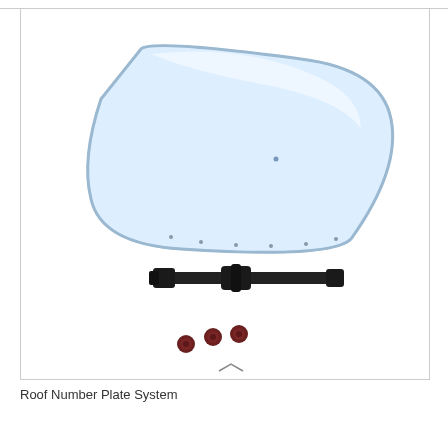[Figure (photo): Product photo showing a Roof Number Plate System components: a large white/light blue rectangular rounded plate angled in perspective view, a black elongated mounting bracket/rail, and three dark red/brown small screws or fasteners below.]
Roof Number Plate System